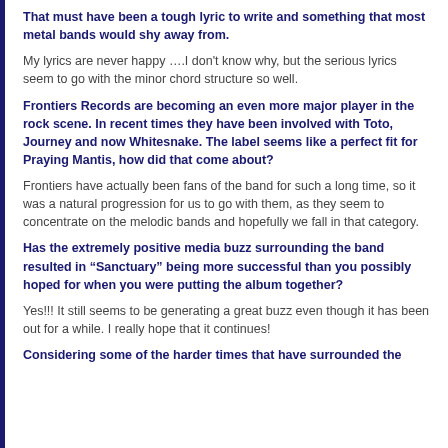That must have been a tough lyric to write and something that most metal bands would shy away from.
My lyrics are never happy ….I don't know why, but the serious lyrics seem to go with the minor chord structure so well.
Frontiers Records are becoming an even more major player in the rock scene. In recent times they have been involved with Toto, Journey and now Whitesnake. The label seems like a perfect fit for Praying Mantis, how did that come about?
Frontiers have actually been fans of the band for such a long time, so it was a natural progression for us to go with them, as they seem to concentrate on the melodic bands and hopefully we fall in that category.
Has the extremely positive media buzz surrounding the band resulted in “Sanctuary” being more successful than you possibly hoped for when you were putting the album together?
Yes!!! It still seems to be generating a great buzz even though it has been out for a while. I really hope that it continues!
Considering some of the harder times that have surrounded the